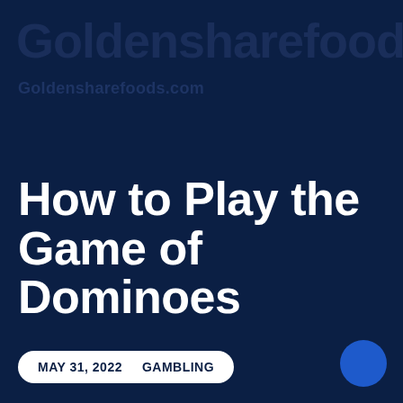Goldensharefoods.co
Goldensharefoods.com
How to Play the Game of Dominoes
MAY 31, 2022    GAMBLING